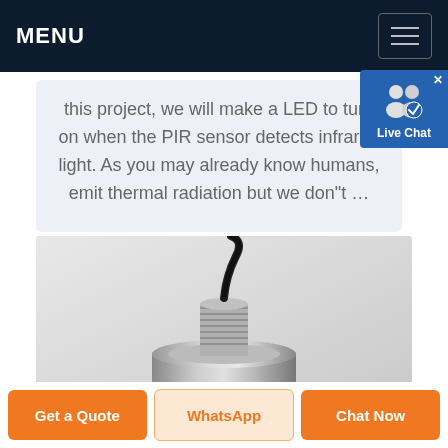MENU
this project, we will make a LED to turn on when the PIR sensor detects infrared light. As you may already know humans, emit thermal radiation but we don"t …
[Figure (photo): Close-up photo of a cylindrical stainless steel sensor or industrial component with threaded connector and black cable coming out the top, on a white/grey background.]
Get a Quote
WhatsApp
Chat Now